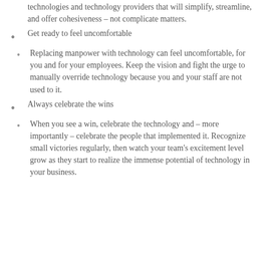technologies and technology providers that will simplify, streamline, and offer cohesiveness – not complicate matters.
Get ready to feel uncomfortable
Replacing manpower with technology can feel uncomfortable, for you and for your employees. Keep the vision and fight the urge to manually override technology because you and your staff are not used to it.
Always celebrate the wins
When you see a win, celebrate the technology and – more importantly – celebrate the people that implemented it. Recognize small victories regularly, then watch your team's excitement level grow as they start to realize the immense potential of technology in your business.